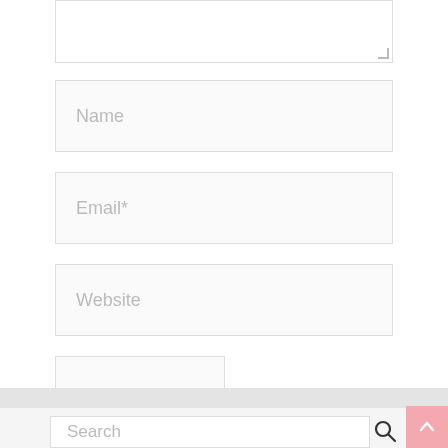[Figure (screenshot): Partial view of a web comment form with textarea (partially visible at top), Name input field, Email* input field, Website input field, and Post Comment button. Below is a grey separator band and the top of a footer area with a Search input field and a pink back-to-top button.]